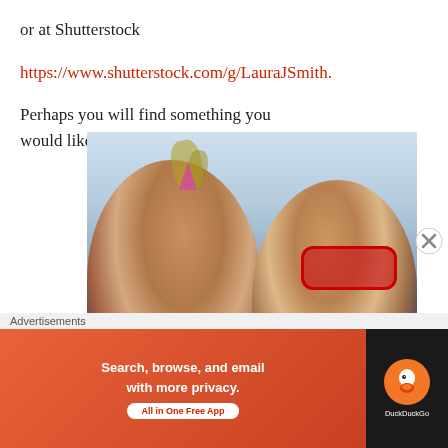or at Shutterstock
https://www.shutterstock.com/g/LauraJSmith.
Perhaps you will find something you would like to have as your own?
[Figure (photo): Two women posing for a selfie. The woman on the left has her hair up with a decorative party hat/feather accessory. The woman on the right is wearing large red novelty sunglasses. Both are wearing blue shirts and smiling. Background shows outdoor scenery and a wooden structure.]
My col Kid band Celebration
Advertisements
[Figure (screenshot): DuckDuckGo advertisement banner: 'Search, browse, and email with more privacy. All in One Free App' with DuckDuckGo logo on dark background on right side.]